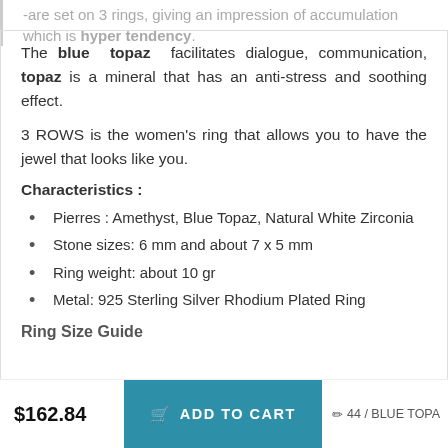-are set on 3 rings, giving an impression of accumulation which is hyper tendency.
The blue topaz facilitates dialogue, communication, topaz is a mineral that has an anti-stress and soothing effect.
3 ROWS is the women's ring that allows you to have the jewel that looks like you.
Characteristics :
Pierres : Amethyst, Blue Topaz, Natural White Zirconia
Stone sizes: 6 mm and about 7 x 5 mm
Ring weight: about 10 gr
Metal: 925 Sterling Silver Rhodium Plated Ring
Ring Size Guide
$162.84   ADD TO CART   44 / BLUE TOPA